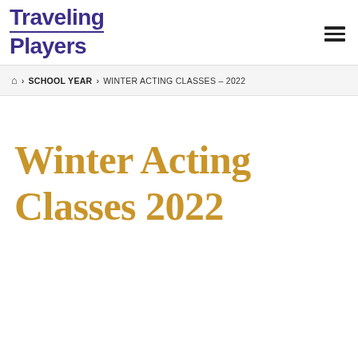[Figure (logo): Traveling Players logo with bold dark blue serif text reading 'Traveling Players' with a horizontal rule underline between the two words]
🏠 > SCHOOL YEAR > WINTER ACTING CLASSES – 2022
Winter Acting Classes 2022